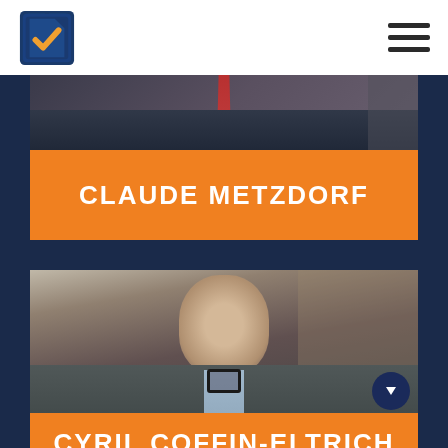[Figure (photo): Partial photo of a person in a dark suit with a red tie, cropped to torso and lower face area]
CLAUDE METZDORF
[Figure (photo): Smiling man with beard and glasses hanging from collar, wearing a grey blazer over a light blue shirt]
CYRIL COFFIN-ELTRICH